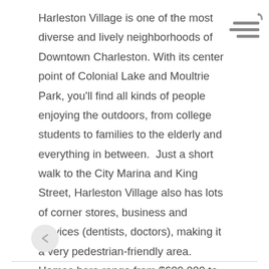Harleston Village is one of the most diverse and lively neighborhoods of Downtown Charleston. With its center point of Colonial Lake and Moultrie Park, you'll find all kinds of people enjoying the outdoors, from college students to families to the elderly and everything in between.  Just a short walk to the City Marina and King Street, Harleston Village also has lots of corner stores, business and services (dentists, doctors), making it a very pedestrian-friendly area. Homes here range from $600,000 to over $3,000,000 and you can find condos at the Baker House, Berkeley Court and in various historic homes turned into multiple places.
[Figure (illustration): Hamburger menu icon with three horizontal lines and a small curved arrow in the top-right corner]
[Figure (illustration): Circular back/up button with a chevron icon at the bottom left]